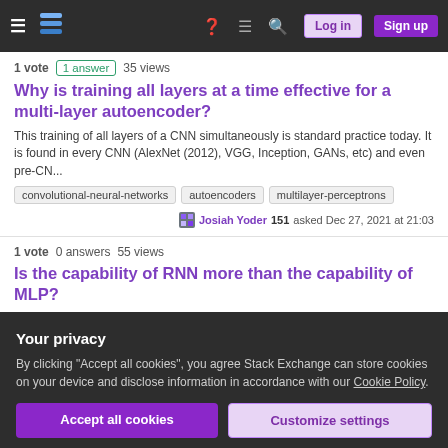Stack Exchange Q&A navigation bar with Log in and Sign up buttons
1 vote  1 answer  35 views
Why is training all layers at a time effective for a multi-layer autoencoder?
This training of all layers of a CNN simultaneously is standard practice today. It is found in every CNN (AlexNet (2012), VGG, Inception, GANs, etc) and even pre-CN...
convolutional-neural-networks
autoencoders
multilayer-perceptrons
Josiah Yoder 151 asked Dec 27, 2021 at 21:03
1 vote  0 answers  55 views
Is the capability of RNN more than the capability of MLP?
Consider the following excerpt paragraph taken from the section titled "Recurrent Neural Networks" of the chapter 10 Sequence Modeling: Recurrent and Recursive...
Your privacy
By clicking "Accept all cookies", you agree Stack Exchange can store cookies on your device and disclose information in accordance with our Cookie Policy.
Accept all cookies
Customize settings
1 vote  0 answers  35 views